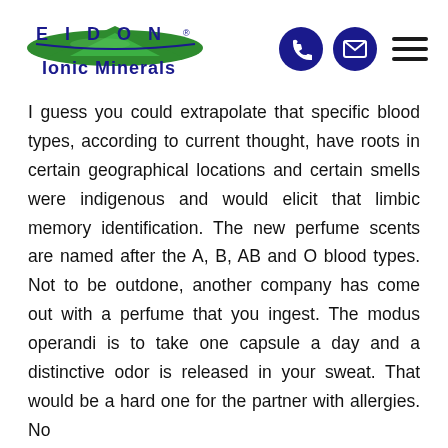[Figure (logo): Eidon Ionic Minerals logo with green mountain/leaf graphic and dark blue text]
I guess you could extrapolate that specific blood types, according to current thought, have roots in certain geographical locations and certain smells were indigenous and would elicit that limbic memory identification. The new perfume scents are named after the A, B, AB and O blood types. Not to be outdone, another company has come out with a perfume that you ingest. The modus operandi is to take one capsule a day and a distinctive odor is released in your sweat. That would be a hard one for the partner with allergies. No